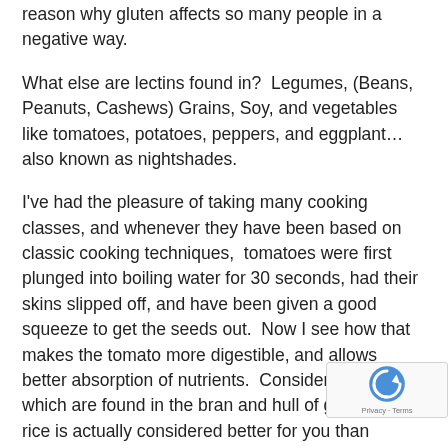reason why gluten affects so many people in a negative way.
What else are lectins found in?  Legumes, (Beans, Peanuts, Cashews) Grains, Soy, and vegetables like tomatoes, potatoes, peppers, and eggplant…also known as nightshades.
I've had the pleasure of taking many cooking classes, and whenever they have been based on classic cooking techniques,  tomatoes were first plunged into boiling water for 30 seconds, had their skins slipped off, and have been given a good squeeze to get the seeds out.  Now I see how that makes the tomato more digestible, and allows better absorption of nutrients.  Considering lectins, which are found in the bran and hull of grains, white rice is actually considered better for you than brown, especially if it is cooked in a pressure cooker.  How is that for going completely against what we've been told for so many years?